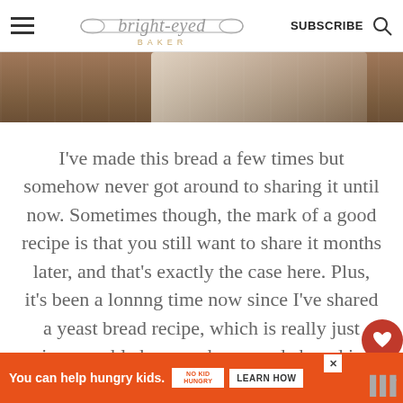bright-eyed BAKER — SUBSCRIBE
[Figure (photo): Close-up photo of a wooden surface with a white cloth/towel, likely used as a background for bread photography.]
I've made this bread a few times but somehow never got around to sharing it until now. Sometimes though, the mark of a good recipe is that you still want to share it months later, and that's exactly the case here. Plus, it's been a lonnng time now since I've shared a yeast bread recipe, which is really just inexcusable because homemade bread is definitley one of my favorite
[Figure (infographic): Ad banner: orange background with text 'You can help hungry kids.' No Kid Hungry logo and 'LEARN HOW' button.]